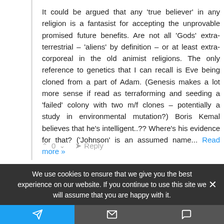It could be argued that any 'true believer' in any religion is a fantasist for accepting the unprovable promised future benefits. Are not all 'Gods' extra-terrestrial – 'aliens' by definition – or at least extra-corporeal in the old animist religions. The only reference to genetics that I can recall is Eve being cloned from a part of Adam. (Genesis makes a lot more sense if read as terraforming and seeding a 'failed' colony with two m/f clones – potentially a study in environmental mutation?) Boris Kemal believes that he's intelligent..?? Where's his evidence for that? ('Johnson' is an assumed name... Read more »
^ 0 v  ➤ Reply
We use cookies to ensure that we give you the best experience on our website. If you continue to use this site we will assume that you are happy with it.